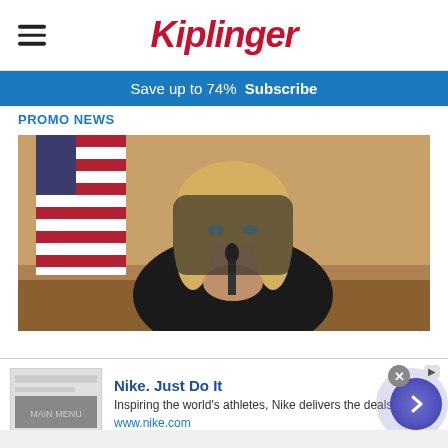Kiplinger
Save up to 74%  Subscribe
Promo News
[Figure (photo): A blonde woman in a black jacket seated at what appears to be a judicial bench, with an American flag in the background and a microphone in front of her, hands clasped together.]
Nike. Just Do It
Inspiring the world's athletes, Nike delivers the deals
www.nike.com